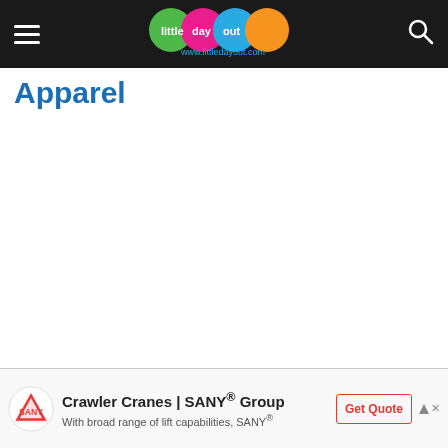little day out — www.littledayout.com
Apparel
[Figure (photo): White/blank content area representing an image placeholder for Care Bear Singapore apparel]
Image: Care Bear Singapore
...is available for purchase in the Care B...
[Figure (other): Advertisement banner: Crawler Cranes | SANY® Group — With broad range of lift capabilities, SANY® — Get Quote button]